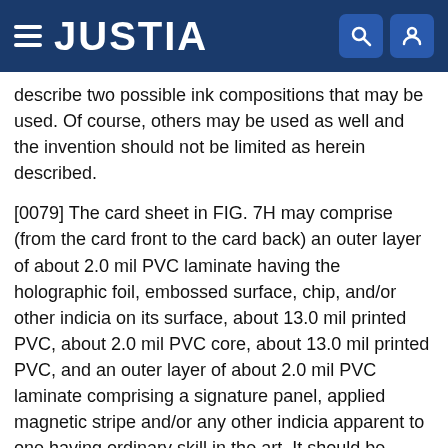JUSTIA
describe two possible ink compositions that may be used. Of course, others may be used as well and the invention should not be limited as herein described.
[0079] The card sheet in FIG. 7H may comprise (from the card front to the card back) an outer layer of about 2.0 mil PVC laminate having the holographic foil, embossed surface, chip, and/or other indicia on its surface, about 13.0 mil printed PVC, about 2.0 mil PVC core, about 13.0 mil printed PVC, and an outer layer of about 2.0 mil PVC laminate comprising a signature panel, applied magnetic stripe and/or any other indicia apparent to one having ordinary skill in the art. It should be noted that the PVC core layer (herein described, according to FIG. 7H, as being about 2.0 mil thick) may be optional, and may be included if a thicker card is desired. Of course, the PVC core layer may be any thickness to create a transaction